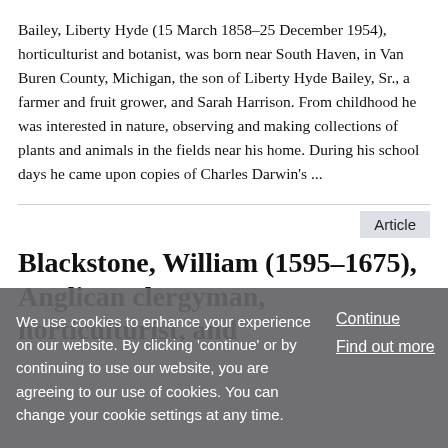Bailey, Liberty Hyde (15 March 1858–25 December 1954), horticulturist and botanist, was born near South Haven, in Van Buren County, Michigan, the son of Liberty Hyde Bailey, Sr., a farmer and fruit grower, and Sarah Harrison. From childhood he was interested in nature, observing and making collections of plants and animals in the fields near his home. During his school days he came upon copies of Charles Darwin's ...
Article
Blackstone, William (1595–1675), Anglican clergyman, horticulturist, and
We use cookies to enhance your experience on our website. By clicking 'continue' or by continuing to use our website, you are agreeing to our use of cookies. You can change your cookie settings at any time.